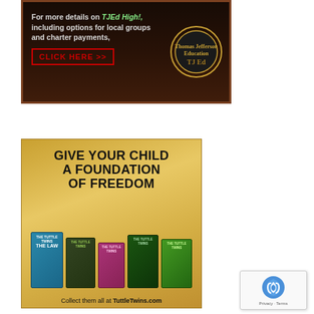[Figure (illustration): TJEd High advertisement with dark background showing text 'For more details on TJEd High!, including options for local groups and charter payments, CLICK HERE >>' with Thomas Jefferson Education logo]
[Figure (illustration): Tuttle Twins book advertisement with golden/tan background showing 'GIVE YOUR CHILD A FOUNDATION OF FREEDOM' text, images of multiple Tuttle Twins books including 'The Law', and footer text 'Collect them all at TuttleTwins.com']
[Figure (other): reCAPTCHA widget showing Google reCAPTCHA logo with 'Privacy - Terms' text]